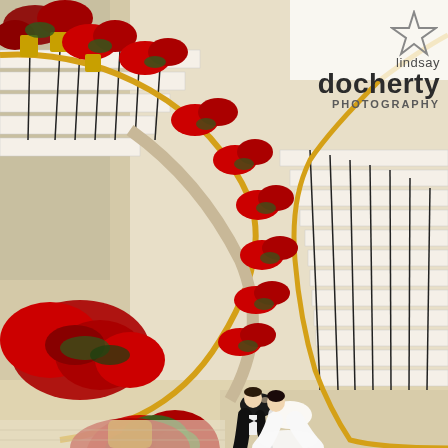[Figure (photo): Aerial/overhead view of a grand curved staircase decorated with red poinsettia flowers along the gold handrail. A bride in white dress and groom in black tuxedo are kissing at the bottom of the staircase. Large floral arrangements with red and green flowers in gold vases are placed on the stair landings.]
[Figure (logo): Lindsay Docherty Photography logo with star graphic in upper right corner of the photo]